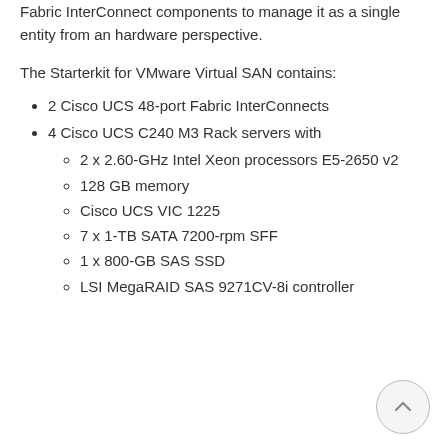Fabric InterConnect components to manage it as a single entity from an hardware perspective.
The Starterkit for VMware Virtual SAN contains:
2 Cisco UCS 48-port Fabric InterConnects
4 Cisco UCS C240 M3 Rack servers with
2 x 2.60-GHz Intel Xeon processors E5-2650 v2
128 GB memory
Cisco UCS VIC 1225
7 x 1-TB SATA 7200-rpm SFF
1 x 800-GB SAS SSD
LSI MegaRAID SAS 9271CV-8i controller